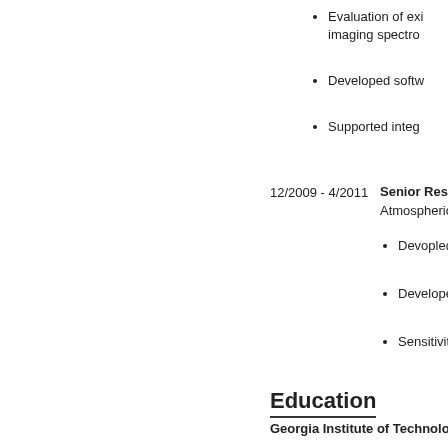Evaluation of exi... imaging spectro...
Developed softw...
Supported integ...
12/2009 - 4/2011    Senior Research Ass... Atmospheric and Envi...
Devopled analys...
Developed analy...
Sensitivity studie...
Education
Georgia Institute of Technology, Atlanta...
Ph.D. in Earth and Atmospheric Sciences, ...
Advisor: Professor Paul G. Steffes
Thesis Title: In Search of Water Vapor on J... Simulations of Jupiter's Microwave Emissio...
Master of Science, School of Earth and Atm...
Master of Science, Electrical and Compute...
Rensselaer Polytechnic Institute, Troy, N...
Bachelor of Science in Electrical Enginee...